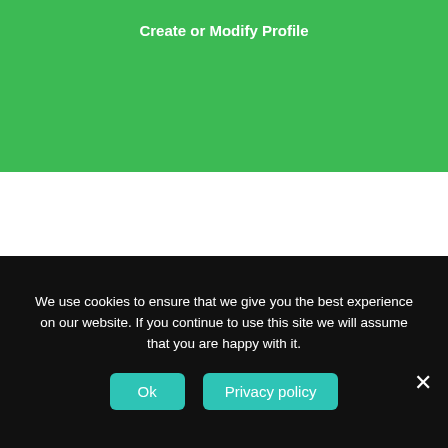Create or Modify Profile
Search Full Database
Full Database Search
We use cookies to ensure that we give you the best experience on our website. If you continue to use this site we will assume that you are happy with it.
Ok
Privacy policy